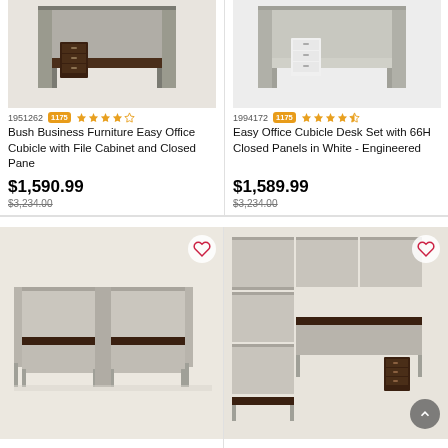[Figure (photo): Office cubicle desk with dark wood finish and dark file cabinet, gray panels]
1951262
1175 (review count badge)
4 out of 5 stars
Bush Business Furniture Easy Office Cubicle with File Cabinet and Closed Pane
$1,590.99
$3,234.00
[Figure (photo): Office cubicle desk set with white file cabinet and gray closed panels]
1994172
1175 (review count badge)
4.5 out of 5 stars
Easy Office Cubicle Desk Set with 66H Closed Panels in White - Engineered
$1,589.99
$3,234.00
[Figure (photo): Two-person L-shaped office cubicle workstation with dark wood surface and gray panels, bottom left]
[Figure (photo): Office cubicle with gray panels in L-shape configuration, bottom right]